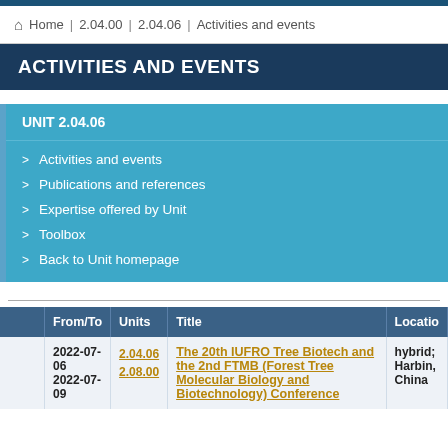Home | 2.04.00 | 2.04.06 | Activities and events
ACTIVITIES AND EVENTS
UNIT 2.04.06
> Activities and events
> Publications and references
> Expertise offered by Unit
> Toolbox
> Back to Unit homepage
|  | From/To | Units | Title | Locatio |
| --- | --- | --- | --- | --- |
|  | 2022-07-06
2022-07-09 | 2.04.06
2.08.00 | The 20th IUFRO Tree Biotech and the 2nd FTMB (Forest Tree Molecular Biology and Biotechnology) Conference | hybrid; Harbin, China |